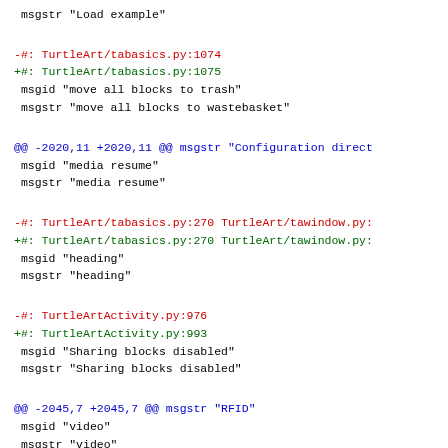msgstr "Load example"

-#: TurtleArt/tabasics.py:1074
+#: TurtleArt/tabasics.py:1075
 msgid "move all blocks to trash"
 msgstr "move all blocks to wastebasket"

@@ -2020,11 +2020,11 @@ msgstr "Configuration direct
 msgid "media resume"
 msgstr "media resume"

-#: TurtleArt/tabasics.py:270 TurtleArt/tawindow.py:
+#: TurtleArt/tabasics.py:270 TurtleArt/tawindow.py:
 msgid "heading"
 msgstr "heading"

-#: TurtleArtActivity.py:976
+#: TurtleArtActivity.py:993
 msgid "Sharing blocks disabled"
 msgstr "Sharing blocks disabled"

@@ -2045,7 +2045,7 @@ msgstr "RFID"
 msgid "video"
 msgstr "video"

-#: TurtleArt/tabasics.py:523
+#: TurtleArt/tabasics.py:524
 msgid "blue"
 msgstr "blue"